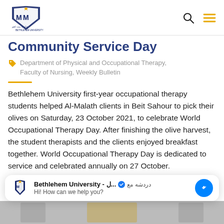Bethlehem University - navigation header with logo, search and menu icons
Community Service Day
Department of Physical and Occupational Therapy, Faculty of Nursing, Weekly Bulletin
Bethlehem University first-year occupational therapy students helped Al-Malath clients in Beit Sahour to pick their olives on Saturday, 23 October 2021, to celebrate World Occupational Therapy Day. After finishing the olive harvest, the student therapists and the clients enjoyed breakfast together. World Occupational Therapy Day is dedicated to service and celebrated annually on 27 October.
[Figure (screenshot): Messenger chat widget showing Bethlehem University chat prompt: 'Hi! How can we help you?']
[Figure (photo): Bottom portion of a photo, partially visible at the bottom of the page]